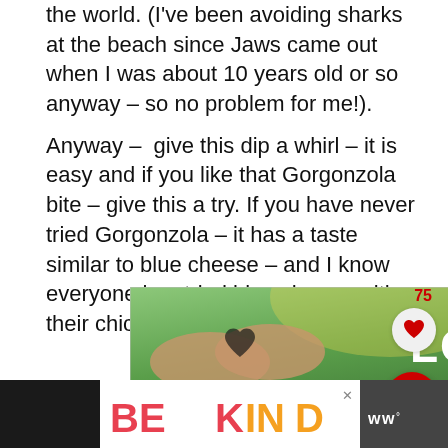the world. (I've been avoiding sharks at the beach since Jaws came out when I was about 10 years old or so anyway – so no problem for me!).
Anyway –  give this dip a whirl – it is easy and if you like that Gorgonzola bite – give this a try. If you have never tried Gorgonzola – it has a taste similar to blue cheese – and I know everyone has tried blue cheese with their chicken wings!
[Figure (screenshot): Advertisement banner with green nature background, two hands forming a heart shape, and bold white text reading 'LOVE > HATE' with a close button]
[Figure (screenshot): Bottom advertisement bar with 'BE KIND' text in red and orange, decorative script illustration, and WW logo on dark background]